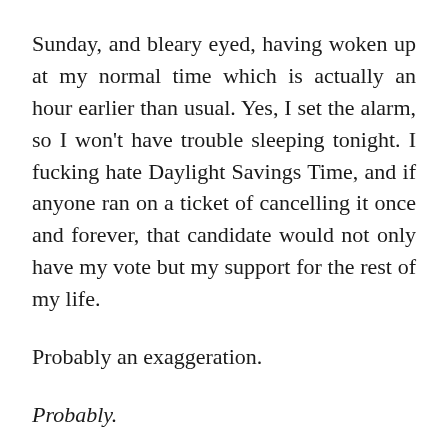Sunday, and bleary eyed, having woken up at my normal time which is actually an hour earlier than usual. Yes, I set the alarm, so I won't have trouble sleeping tonight. I fucking hate Daylight Savings Time, and if anyone ran on a ticket of cancelling it once and forever, that candidate would not only have my vote but my support for the rest of my life.
Probably an exaggeration.
Probably.